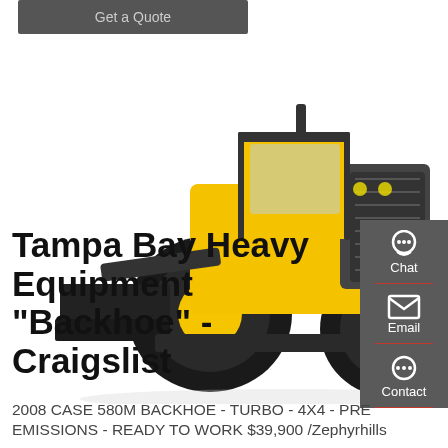Get a Quote
[Figure (photo): Large yellow and black wheel loader / heavy construction equipment photographed from rear three-quarter angle on white background]
[Figure (infographic): Side navigation panel with Chat (headset icon), Email (envelope icon), and Contact (speech bubble icon) buttons on dark gray background with red dividers]
Tampa Bay Heavy Equipment "Backhoe" - Craigslist
2008 CASE 580M BACKHOE - TURBO - 4X4 - PRE EMISSIONS - READY TO WORK $39,900 /Zephyrhills